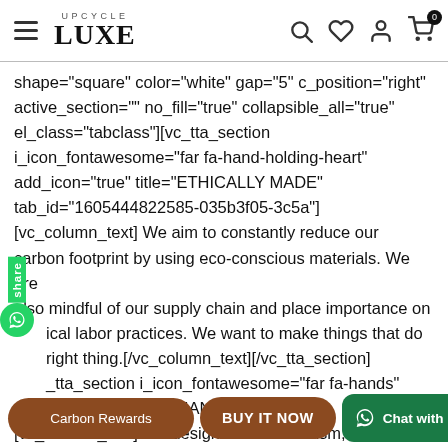UPCYCLE LUXE — navigation header with hamburger menu, logo, search, wishlist, account, cart (0) icons
shape="square" color="white" gap="5" c_position="right" active_section="" no_fill="true" collapsible_all="true" el_class="tabclass"][vc_tta_section i_icon_fontawesome="far fa-hand-holding-heart" add_icon="true" title="ETHICALLY MADE" tab_id="1605444822585-035b3f05-3c5a"] [vc_column_text] We aim to constantly reduce our carbon footprint by using eco-conscious materials. We are also mindful of our supply chain and place importance on ethical labor practices. We want to make things that do the right thing.[/vc_column_text][/vc_tta_section] [vc_tta_section i_icon_fontawesome="far fa-hands" add_icon="true" title="HANDCRAFTED ..." tab_id="..."] [vc_column_text] We design with minimalism,